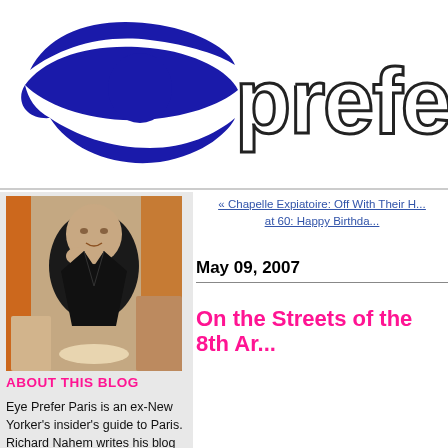[Figure (logo): Eye Prefer Paris blog logo: blue abstract eye illustration on the left and outline text 'prefe' (partially visible) on the right]
« Chapelle Expiatoire: Off With Their H... at 60: Happy Birthda...
May 09, 2007
On the Streets of the 8th Ar...
[Figure (photo): A bald man in a black leather jacket sitting at a cafe table, resting his chin on his hand, smiling slightly]
ABOUT THIS BLOG
Eye Prefer Paris is an ex-New Yorker's insider's guide to Paris. Richard Nahem writes his blog from his